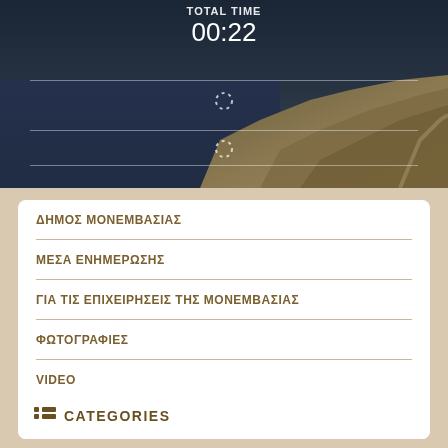[Figure (photo): Aerial/landscape photo of Monemvasia peninsula with sea and cliffs, overlaid with timer UI showing 00:22 and loading spinners]
ΔΗΜΟΣ ΜΟΝΕΜΒΑΣΙΑΣ
ΜΕΣΑ ΕΝΗΜΕΡΩΣΗΣ
ΓΙΑ ΤΙΣ ΕΠΙΧΕΙΡΗΣΕΙΣ ΤΗΣ ΜΟΝΕΜΒΑΣΙΑΣ
ΦΩΤΟΓΡΑΦΙΕΣ
VIDEO
ΕΠΙΚΟΙΝΩΝΙΑ
CATEGORIES